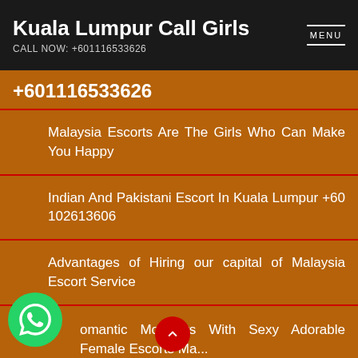Kuala Lumpur Call Girls
CALL NOW: +601116533626
+601116533626
Malaysia Escorts Are The Girls Who Can Make You Happy
Indian And Pakistani Escort In Kuala Lumpur +60 102613606
Advantages of Hiring our capital of Malaysia Escort Service
Romantic Moments With Sexy Adorable Female Escorts Ma...